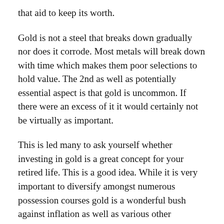that aid to keep its worth.
Gold is not a steel that breaks down gradually nor does it corrode. Most metals will break down with time which makes them poor selections to hold value. The 2nd as well as potentially essential aspect is that gold is uncommon. If there were an excess of it it would certainly not be virtually as important.
This is led many to ask yourself whether investing in gold is a great concept for your retired life. This is a good idea. While it is very important to diversify amongst numerous possession courses gold is a wonderful bush against inflation as well as various other unfavorable financial impacts. Among the best methods to buy gold as a means to conserve towards retirement is by opening a gold IRA. However what exactly is a gold Individual Retirement Account?